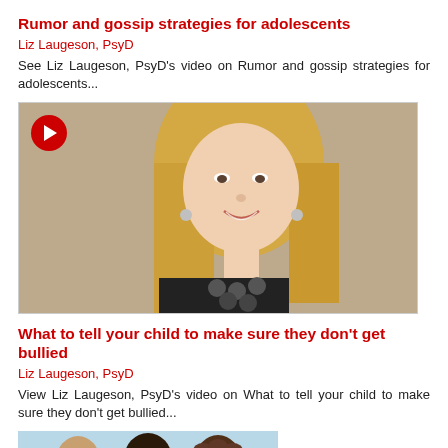Rumor and gossip strategies for adolescents
Liz Laugeson, PsyD
See Liz Laugeson, PsyD's video on Rumor and gossip strategies for adolescents...
[Figure (photo): Video thumbnail showing a blonde woman smiling, with a red play button in the upper left corner]
What to tell your child to make sure they don't get bullied
Liz Laugeson, PsyD
View Liz Laugeson, PsyD's video on What to tell your child to make sure they don't get bullied...
[Figure (photo): Thumbnail image showing the backs of three children's heads]